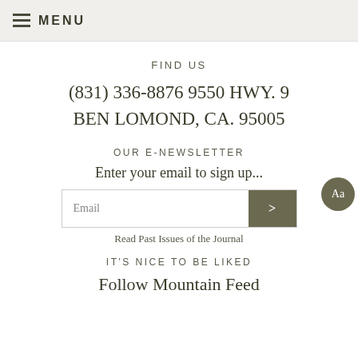MENU
FIND US
(831) 336-8876 9550 HWY. 9 BEN LOMOND, CA. 95005
OUR E-NEWSLETTER
Enter your email to sign up...
Email
Read Past Issues of the Journal
IT'S NICE TO BE LIKED
Follow Mountain Feed